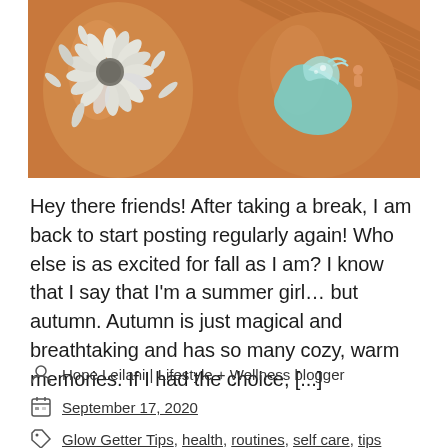[Figure (photo): Close-up photo of painted ceramic vases/pots with orange background. Left side shows a white daisy/sunflower with grey center painted on the surface. Right side shows a teal/mint colored wave design. Background has diagonal wooden slat texture.]
Hey there friends! After taking a break, I am back to start posting regularly again! Who else is as excited for fall as I am? I know that I say that I'm a summer girl… but autumn. Autumn is just magical and breathtaking and has so many cozy, warm memories. If I had the choice, [...]
Hope Leilani | Lifestyle + Wellness blogger
September 17, 2020
Glow Getter Tips, health, routines, self care, tips